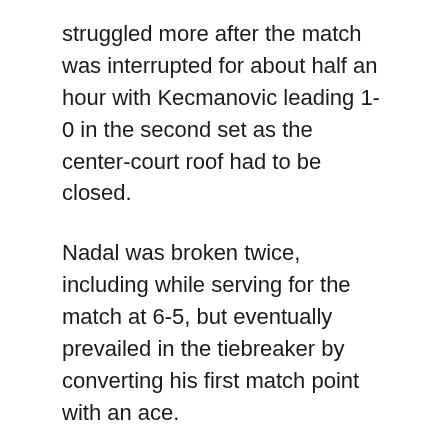struggled more after the match was interrupted for about half an hour with Kecmanovic leading 1-0 in the second set as the center-court roof had to be closed.
Nadal was broken twice, including while serving for the match at 6-5, but eventually prevailed in the tiebreaker by converting his first match point with an ace.
Nadal could face a quarterfinal against Spanish teenage sensation Carlos Alcaraz, and a semifinal against either top-ranked Novak Djokovic or former No. 1 Andy Murray.